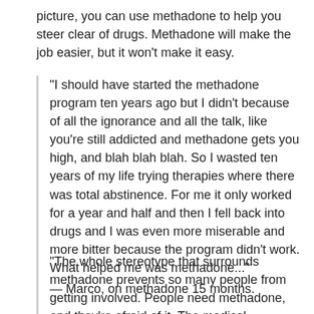picture, you can use methadone to help you steer clear of drugs. Methadone will make the job easier, but it won't make it easy.
"I should have started the methadone program ten years ago but I didn't because of all the ignorance and all the talk, like you're still addicted and methadone gets you high, and blah blah blah. So I wasted ten years of my life trying therapies where there was total abstinence. For me it only worked for a year and half and then I fell back into drugs and I was even more miserable and more bitter because the program didn't work. What helped me was methadone..."
— Marco, on methadone 15 months.
"The whole stereotype that surrounds methadone prevents so many people from getting involved. People need methadone, and they're afraid of it. The medical community should be educating about the...